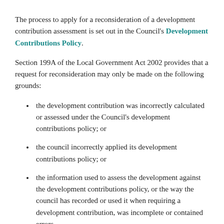The process to apply for a reconsideration of a development contribution assessment is set out in the Council's Development Contributions Policy.
Section 199A of the Local Government Act 2002 provides that a request for reconsideration may only be made on the following grounds:
the development contribution was incorrectly calculated or assessed under the Council's development contributions policy; or
the council incorrectly applied its development contributions policy; or
the information used to assess the development against the development contributions policy, or the way the council has recorded or used it when requiring a development contribution, was incomplete or contained errors